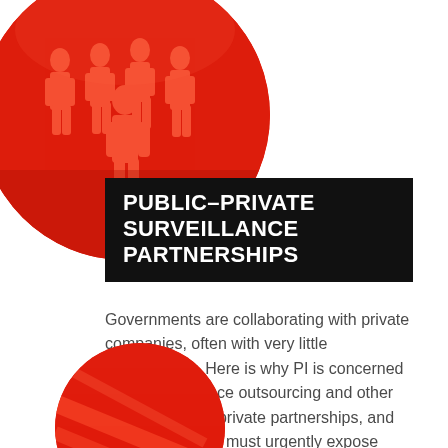[Figure (illustration): Red circular image with silhouettes of people standing together, suggesting a crowd or surveillance context]
PUBLIC–PRIVATE SURVEILLANCE PARTNERSHIPS
Governments are collaborating with private companies, often with very little transparency. Here is why PI is concerned about surveillance outsourcing and other forms of public–private partnerships, and why together we must urgently expose them. READ MORE
[Figure (illustration): Partial red circular image at the bottom of the page, similar to the top image]